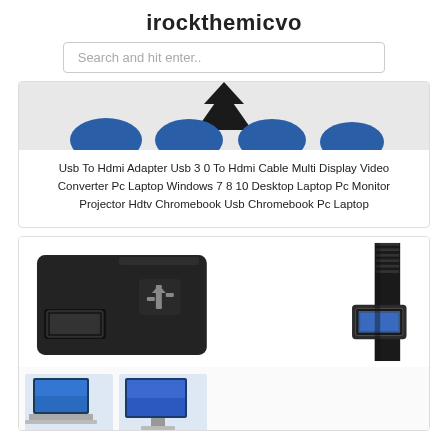irockthemicvo
Search and hit enter..
[Figure (photo): Product image strip showing USB to HDMI adapter from multiple angles with blue and black color elements]
Usb To Hdmi Adapter Usb 3 0 To Hdmi Cable Multi Display Video Converter Pc Laptop Windows 7 8 10 Desktop Laptop Pc Monitor Projector Hdtv Chromebook Usb Chromebook Pc Laptop
[Figure (photo): USB to HDMI adapter product photos: left shows the black adapter with HDMI port and diamond logo, right shows USB 3.0 cable connector end. Bottom row shows laptop and monitor thumbnail images.]